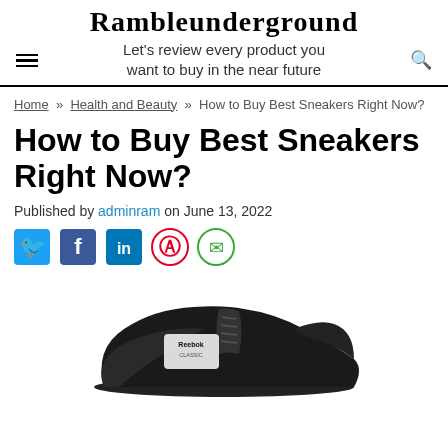Rambleunderground
Let's review every product you want to buy in the near future
Home » Health and Beauty » How to Buy Best Sneakers Right Now?
How to Buy Best Sneakers Right Now?
Published by adminram on June 13, 2022
[Figure (infographic): Social sharing icons: Twitter (blue bird), Facebook (blue f), LinkedIn (blue in), Pinterest (red P), Email (green envelope)]
[Figure (photo): Black Reebok Classic sneaker photographed from the side, shown from mid-sole upward against a white background]